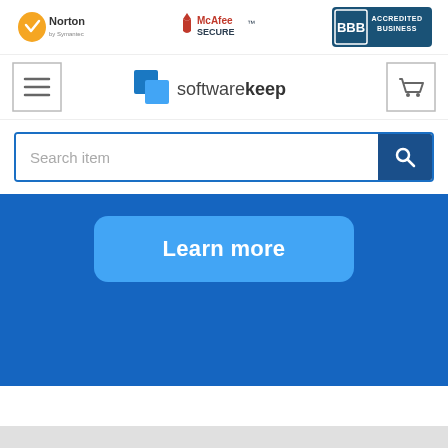[Figure (logo): Norton by Symantec security logo with yellow checkmark shield]
[Figure (logo): McAfee Secure logo with red shield icon]
[Figure (logo): BBB Accredited Business badge in teal/dark blue]
[Figure (logo): Hamburger menu button (three horizontal lines in a square border)]
[Figure (logo): SoftwareKeep logo with blue overlapping squares and text]
[Figure (logo): Shopping cart icon button in a square border]
Search item
Learn more